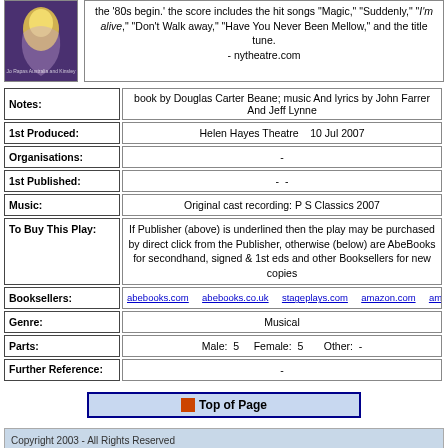[Figure (illustration): Book/album cover with purple background showing a glowing female figure]
the '80s begin.' the score includes the hit songs "Magic," "Suddenly," "I'm alive," "Don't Walk away," "Have You Never Been Mellow," and the title tune. - nytheatre.com
| Notes: | book by Douglas Carter Beane; music And lyrics by John Farrer And Jeff Lynne |
| 1st Produced: | Helen Hayes Theatre    10 Jul 2007 |
| Organisations: | - |
| 1st Published: | -   - |
| Music: | Original cast recording: P S Classics 2007 |
| To Buy This Play: | If Publisher (above) is underlined then the play may be purchased by direct click from the Publisher, otherwise (below) are AbeBooks for secondhand, signed & 1st eds and other Booksellers for new copies |
| Booksellers: | abebooks.com   abebooks.co.uk   stageplays.com   amazon.com   amazon.co.uk   am |
| Genre: | Musical |
| Parts: | Male:  5      Female:  5          Other:  - |
| Further Reference: | - |
Top of Page
Copyright 2003 - All Rights Reserved
TOP | home | playwrights | plays | characters | agents | publishers | theatres | gay/lesbian theatre | links | about doollee | submit info to doollee